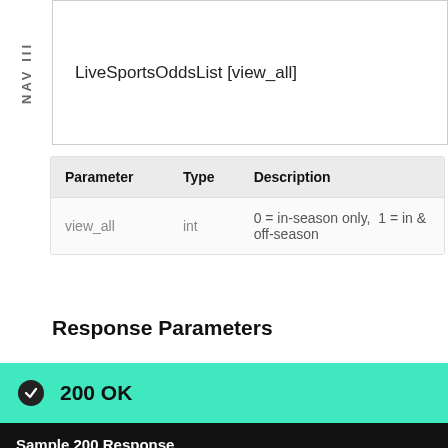LiveSportsOddsList [view_all]
| Parameter | Type | Description |
| --- | --- | --- |
| view_all | int | 0 = in-season only,  1 = in & off-season |
Response Parameters
200 OK
Sample 200 Response
[
  {
    "league": "NCAAF",
    "in_season": true,
    "id_key": "americanfootball_ncaaf"